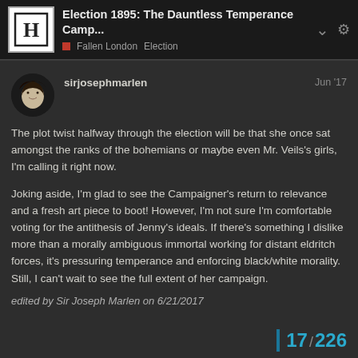Election 1895: The Dauntless Temperance Camp... | Fallen London Election
sirjosephmarlen
Jun '17
The plot twist halfway through the election will be that she once sat amongst the ranks of the bohemians or maybe even Mr. Veils's girls, I'm calling it right now.

Joking aside, I'm glad to see the Campaigner's return to relevance and a fresh art piece to boot! However, I'm not sure I'm comfortable voting for the antithesis of Jenny's ideals. If there's something I dislike more than a morally ambiguous immortal working for distant eldritch forces, it's pressuring temperance and enforcing black/white morality. Still, I can't wait to see the full extent of her campaign.
edited by Sir Joseph Marlen on 6/21/2017
17 / 226